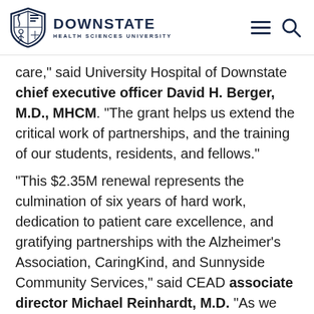DOWNSTATE HEALTH SCIENCES UNIVERSITY
care," said University Hospital of Downstate chief executive officer David H. Berger, M.D., MHCM. "The grant helps us extend the critical work of partnerships, and the training of our students, residents, and fellows."
"This $2.35M renewal represents the culmination of six years of hard work, dedication to patient care excellence, and gratifying partnerships with the Alzheimer's Association, CaringKind, and Sunnyside Community Services," said CEAD associate director Michael Reinhardt, M.D. "As we slowly and cautiously emerge from the ravages of the pandemic, we